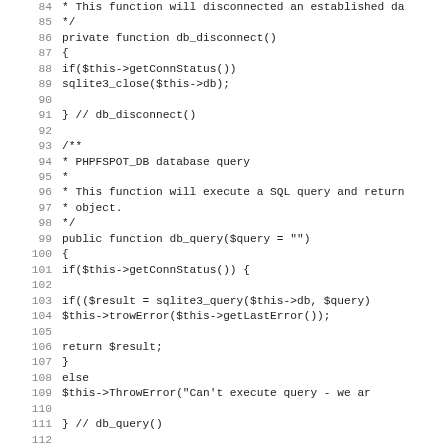Source code listing: PHP class methods db_disconnect, db_query, db_fetch_object (lines 84-115)